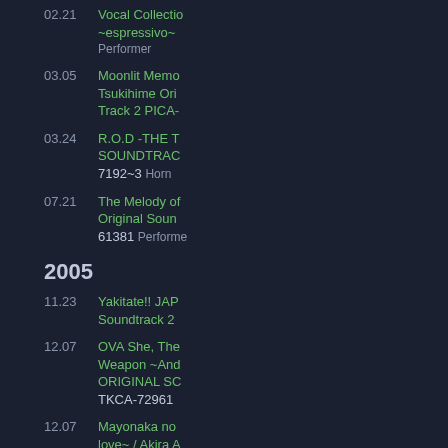02.21 Vocal Collection ~espressivo~ Performer
03.05 Moonlit Memo Tsukihime Original Track 2 PICA-
03.24 R.O.D -THE T SOUNDTRAC 7192~3 Horn
07.21 The Melody of Original Soun 61381 Performer
2005
11.23 Yakitate!! JAP Soundtrack 2
12.07 OVA She, The Weapon ~And ORIGINAL SC TKCA-72961
12.07 Mayonaka no love~ / Akira A 72967 Performer
2006
03.01 Kami wa Saik